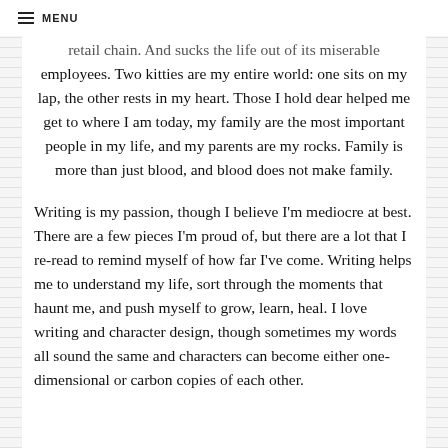MENU
retail chain. And sucks the life out of its miserable employees. Two kitties are my entire world: one sits on my lap, the other rests in my heart. Those I hold dear helped me get to where I am today, my family are the most important people in my life, and my parents are my rocks. Family is more than just blood, and blood does not make family.
Writing is my passion, though I believe I'm mediocre at best. There are a few pieces I'm proud of, but there are a lot that I re-read to remind myself of how far I've come. Writing helps me to understand my life, sort through the moments that haunt me, and push myself to grow, learn, heal. I love writing and character design, though sometimes my words all sound the same and characters can become either one-dimensional or carbon copies of each other.